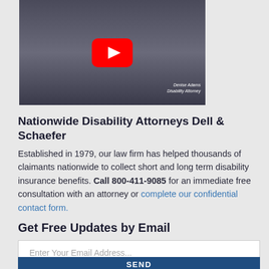[Figure (screenshot): YouTube video thumbnail showing a woman with dark curly hair, with a red YouTube play button overlay. Text in bottom-right reads 'Denise Adams Disability Attorney'.]
Nationwide Disability Attorneys Dell & Schaefer
Established in 1979, our law firm has helped thousands of claimants nationwide to collect short and long term disability insurance benefits. Call 800-411-9085 for an immediate free consultation with an attorney or complete our confidential contact form.
Get Free Updates by Email
Enter Your Email Address...
SEND